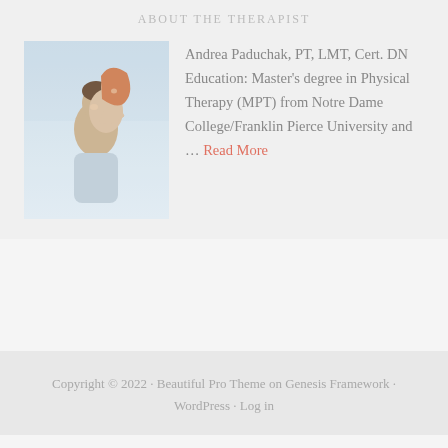ABOUT THE THERAPIST
[Figure (photo): Photo of a couple smiling, woman hugging man from behind, light blue/grey background]
Andrea Paduchak, PT, LMT, Cert. DN Education: Master's degree in Physical Therapy (MPT) from Notre Dame College/Franklin Pierce University and … Read More
Copyright © 2022 · Beautiful Pro Theme on Genesis Framework · WordPress · Log in